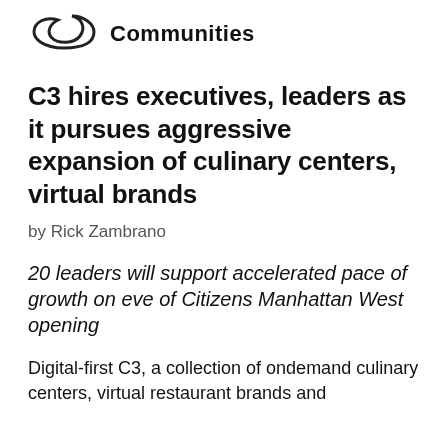Communities
C3 hires executives, leaders as it pursues aggressive expansion of culinary centers, virtual brands
by Rick Zambrano
20 leaders will support accelerated pace of growth on eve of Citizens Manhattan West opening
Digital-first C3, a collection of ondemand culinary centers, virtual restaurant brands and